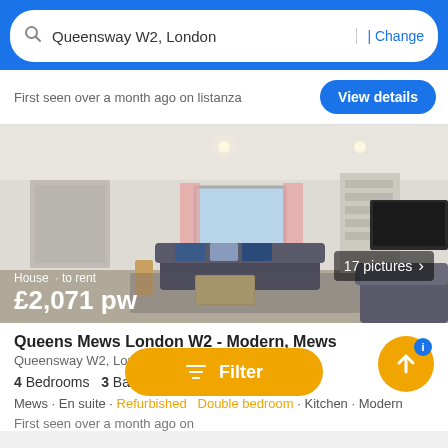Queensway W2, London | Change
First seen over a month ago on listanza
View details
[Figure (photo): Interior photo of a modern mews house living room with sofas, coffee table, TV unit and bookshelves. Overlay text: House · to rent £2,071 pw. Badge: 17 pictures]
Queens Mews London W2 - Modern, Mews
Queensway W2, London
4 Bedrooms  3 Baths
Mews · En suite · Refurbished · Double bedroom · Kitchen · Modern
First seen over a month ago on